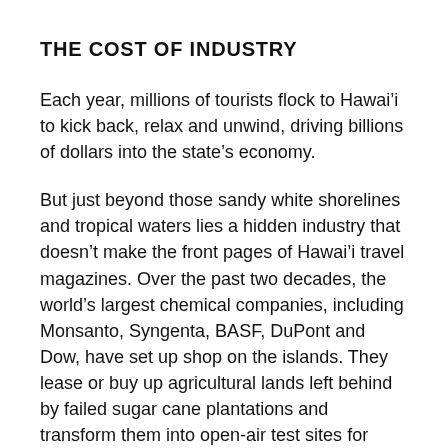THE COST OF INDUSTRY
Each year, millions of tourists flock to Hawai'i to kick back, relax and unwind, driving billions of dollars into the state's economy.
But just beyond those sandy white shorelines and tropical waters lies a hidden industry that doesn't make the front pages of Hawai'i travel magazines. Over the past two decades, the world's largest chemical companies, including Monsanto, Syngenta, BASF, DuPont and Dow, have set up shop on the islands. They lease or buy up agricultural lands left behind by failed sugar cane plantations and transform them into open-air test sites for genetically modified organisms, or GMOs, as well as centers of commercial GE seed production. Year-round